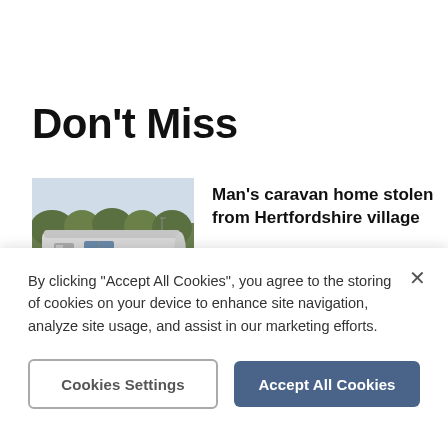Don't Miss
[Figure (photo): A white touring caravan parked on grass with trees in the background]
Man's caravan home stolen from Hertfordshire village
By clicking "Accept All Cookies", you agree to the storing of cookies on your device to enhance site navigation, analyze site usage, and assist in our marketing efforts.
Cookies Settings
Accept All Cookies